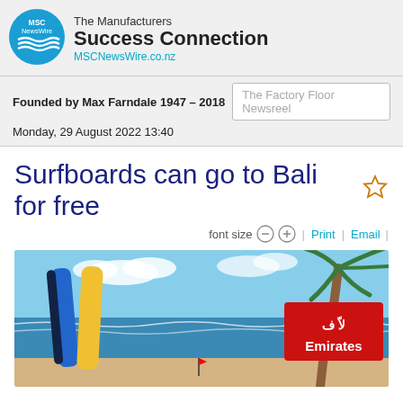[Figure (logo): MSC NewsWire circular blue logo with wave/stripe design]
The Manufacturers Success Connection
MSCNewsWire.co.nz
Founded by Max Farndale 1947 - 2018
Monday, 29 August 2022 13:40
Surfboards can go to Bali for free
font size  Print  Email
[Figure (photo): Beach scene with colorful surfboards leaning against palm tree, ocean waves in background, Emirates airline advertisement sign visible]